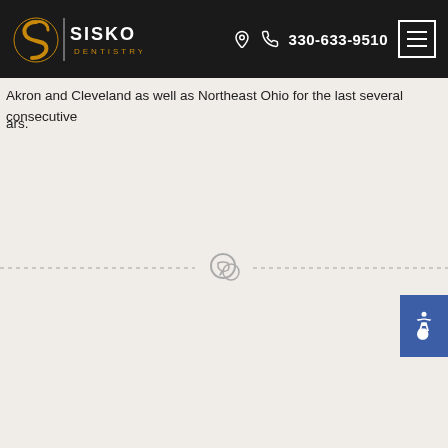Sisko Dentistry | 330-633-9510
Akron and Cleveland as well as Northeast Ohio for the last several consecutive years.
[Figure (other): Dashed horizontal divider line with a speech/chat bubble icon centered on it]
Facebook | Twitter | Email | LinkedIn | Pinterest | WhatsApp (share buttons)